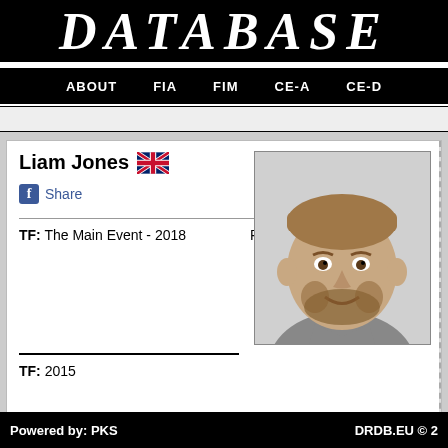DATABASE
ABOUT   FIA   FIM   CE-A   CE-D
Liam Jones
Share
TF: The Main Event - 2018
Photo
[Figure (photo): Headshot photo of Liam Jones, a young man with short hair and a beard, smiling, wearing a grey t-shirt]
TF: 2015
Powered by: PKS   DRDB.EU © 2